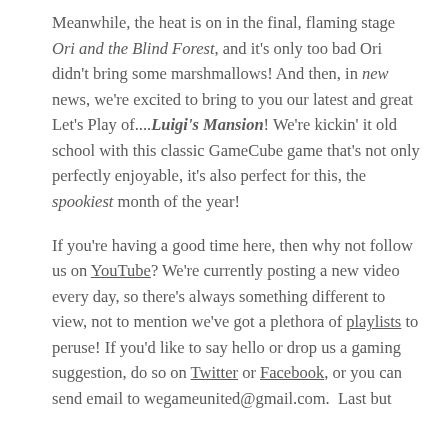Meanwhile, the heat is on in the final, flaming stage Ori and the Blind Forest, and it's only too bad Ori didn't bring some marshmallows! And then, in new news, we're excited to bring to you our latest and great Let's Play of....Luigi's Mansion! We're kickin' it old school with this classic GameCube game that's not only perfectly enjoyable, it's also perfect for this, the spookiest month of the year!
If you're having a good time here, then why not follow us on YouTube? We're currently posting a new video every day, so there's always something different to view, not to mention we've got a plethora of playlists to peruse! If you'd like to say hello or drop us a gaming suggestion, do so on Twitter or Facebook, or you can send email to wegameunited@gmail.com.  Last but